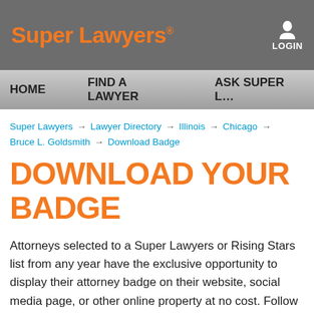Super Lawyers® | LOGIN
HOME   FIND A LAWYER   ASK SUPER L…
Super Lawyers → Lawyer Directory → Illinois → Chicago → Bruce L. Goldsmith → Download Badge
DOWNLOAD YOUR BADGE
Attorneys selected to a Super Lawyers or Rising Stars list from any year have the exclusive opportunity to display their attorney badge on their website, social media page, or other online property at no cost. Follow the steps below to choose your desired badge. If you choose the personalized badge, a customized code will be generated and made available for you to use or to send to your web master.